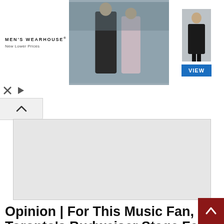[Figure (screenshot): Men's Wearhouse advertisement banner showing a couple dressed for a wedding/formal event in the center, a man in a suit on the right side, and a blue VIEW button. The brand name 'MEN'S WEARHOUSE' with tagline 'New Lower Prices' is on the left.]
[Figure (screenshot): A collapsed/expandable ad widget with an upward caret (^) collapse tab and a gray rectangle placeholder for a second advertisement unit below.]
Opinion | For This Music Fan, Toronto's Budweiser Stage Feels Like...
The excitement begins toward the end of winter or early spring when concert...